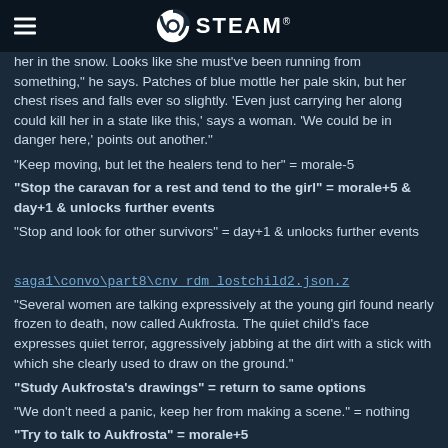STEAM
her in the snow. Looks like she must've been running from something," he says. Patches of blue mottle her pale skin, but her chest rises and falls ever so slightly. 'Even just carrying her along could kill her in a state like this,' says a woman. 'We could be in danger here,' points out another."
"Keep moving, but let the healers tend to her" = morale-5
"Stop the caravan for a rest and tend to the girl" = morale+5 & day+1 & unlocks further events
"Stop and look for other survivors" = day+1 & unlocks further events
saga1\convo\part8\cnv_rdm_lostchild2.json.z
"Several women are talking expressively at the young girl found nearly frozen to death, now called Aukfrosta. The quiet child's face expresses quiet terror, aggressively jabbing at the dirt with a stick with which she clearly used to draw on the ground."
"Study Aukfrosta's drawings" = return to same options
"We don't need a panic, keep her from making a scene." = nothing
"Try to talk to Aukfrosta" = morale+5